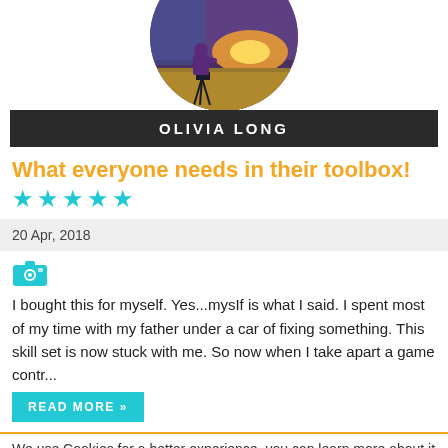[Figure (photo): Circular profile photo of a photographer silhouette against a dramatic sunset landscape]
OLIVIA LONG
What everyone needs in their toolbox!
★★★★★
20 Apr, 2018
[Figure (illustration): Cyan camera icon]
I bought this for myself. Yes...mysIf is what I said. I spent most of my time with my father under a car of fixing something. This skill set is now stuck with me. So now when I take apart a game contr...
READ MORE »
We use Cookies for a better experience, you can learn more about it here
GOT IT